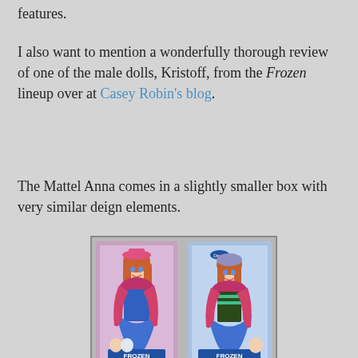features.
I also want to mention a wonderfully thorough review of one of the male dolls, Kristoff, from the Frozen lineup over at Casey Robin's blog.
The Mattel Anna comes in a slightly smaller box with very similar deign elements.
[Figure (photo): Two Anna dolls from Frozen in their packaging side by side. Left doll appears to be a different brand (possibly Disney Store) and right doll is Mattel, both showing Anna in her signature blue dress with pink/magenta cape.]